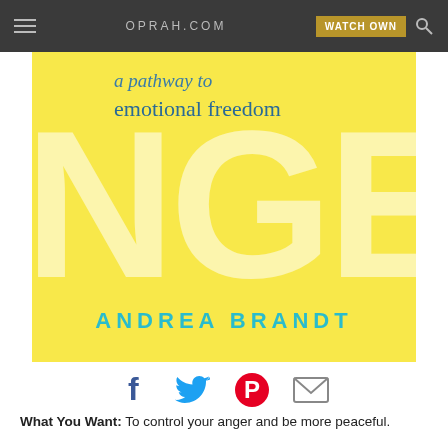OPRAH.COM  WATCH OWN
[Figure (illustration): Book cover with yellow background showing 'a pathway to emotional freedom' subtitle in blue serif font, large faded text 'NGE' in background, and 'ANDREA BRANDT' in teal all-caps at bottom]
[Figure (infographic): Social media sharing icons: Facebook (dark blue f), Twitter (light blue bird), Pinterest (red P circle), Email (grey envelope)]
What You Want: To control your anger and be more peaceful.